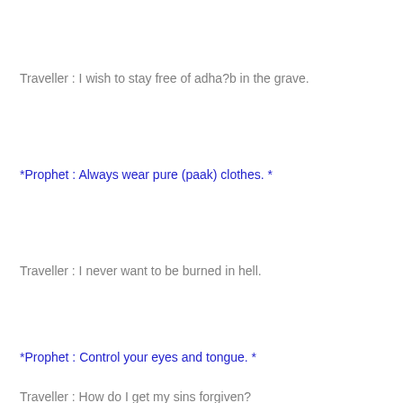Traveller  : I wish to stay free of adha?b in the grave.
*Prophet  : Always wear pure (paak) clothes. *
Traveller  : I never want to be burned in hell.
*Prophet  : Control your eyes and tongue. *
Traveller  : How do I get my sins forgiven?